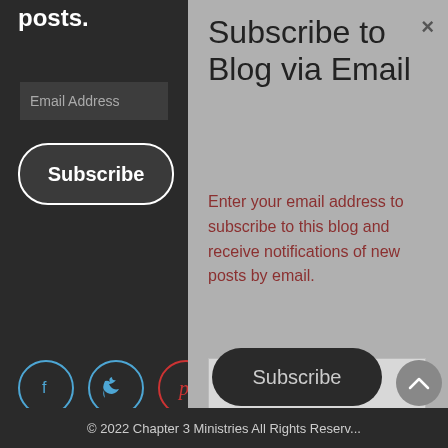posts.
Email Address
Subscribe
[Figure (other): Social media icons: Facebook (blue circle), Twitter (blue circle), Pinterest (red circle)]
Subscribe to Blog via Email
Enter your email address to subscribe to this blog and receive notifications of new posts by email.
Email Address
Subscribe
© 2022 Chapter 3 Ministries All Rights Reserved